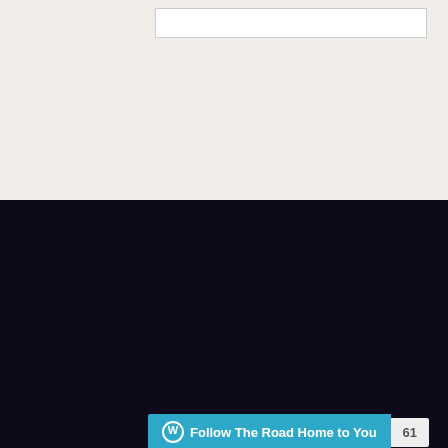[Figure (other): Search input box at top of page on light beige background]
[Figure (other): WordPress Follow button widget showing 'Follow The Road Home to You' with follower count of 61]
CATEGORIES
addiction
advice
Announcements
anxiety
April 2019
August 2018
Beatitudes
Bible reading
christian living
Christmas
church life
codependency
December 2018
depression and anxiety
discipleship
divorce